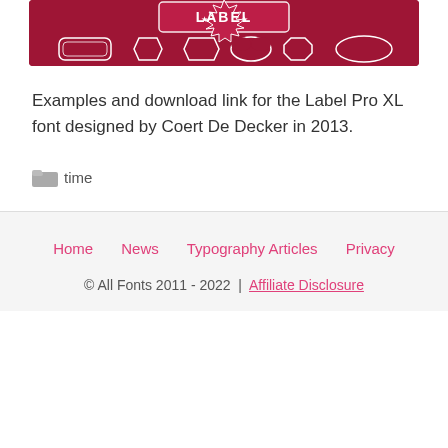[Figure (illustration): Label Pro XL font banner image with dark red/pink background showing label shapes and decorative star design]
Examples and download link for the Label Pro XL font designed by Coert De Decker in 2013.
Categories: time
Home | News | Typography Articles | Privacy | © All Fonts 2011 - 2022 | Affiliate Disclosure